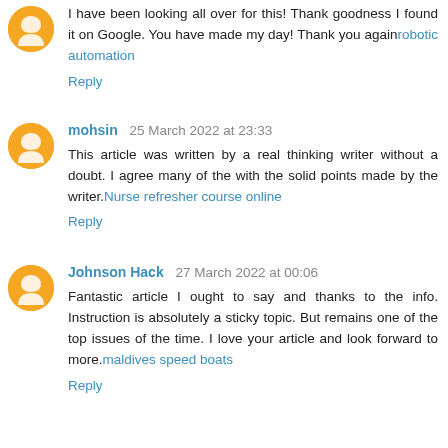I have been looking all over for this! Thank goodness I found it on Google. You have made my day! Thank you againrobotic automation
Reply
mohsin 25 March 2022 at 23:33
This article was written by a real thinking writer without a doubt. I agree many of the with the solid points made by the writer.Nurse refresher course online
Reply
Johnson Hack 27 March 2022 at 00:06
Fantastic article I ought to say and thanks to the info. Instruction is absolutely a sticky topic. But remains one of the top issues of the time. I love your article and look forward to more.maldives speed boats
Reply